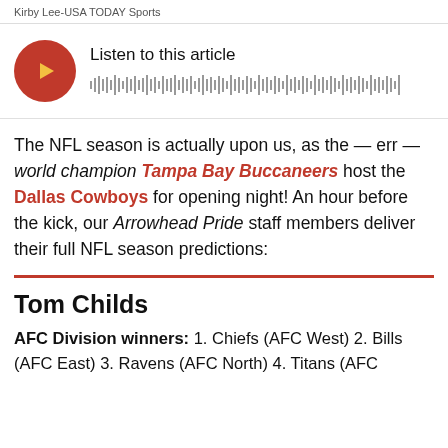Kirby Lee-USA TODAY Sports
[Figure (other): Audio player widget with red circular play button and audio waveform visualization. Title: Listen to this article]
The NFL season is actually upon us, as the — err — world champion Tampa Bay Buccaneers host the Dallas Cowboys for opening night! An hour before the kick, our Arrowhead Pride staff members deliver their full NFL season predictions:
Tom Childs
AFC Division winners: 1. Chiefs (AFC West) 2. Bills (AFC East) 3. Ravens (AFC North) 4. Titans (AFC